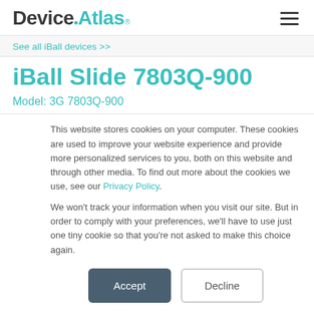DeviceAtlas
See all iBall devices >>
iBall Slide 7803Q-900
Model: 3G 7803Q-900
This website stores cookies on your computer. These cookies are used to improve your website experience and provide more personalized services to you, both on this website and through other media. To find out more about the cookies we use, see our Privacy Policy.
We won't track your information when you visit our site. But in order to comply with your preferences, we'll have to use just one tiny cookie so that you're not asked to make this choice again.
Accept | Decline